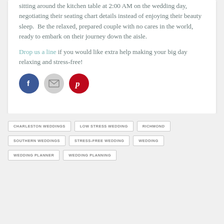sitting around the kitchen table at 2:00 AM on the wedding day, negotiating their seating chart details instead of enjoying their beauty sleep.  Be the relaxed, prepared couple with no cares in the world, ready to embark on their journey down the aisle.
Drop us a line if you would like extra help making your big day relaxing and stress-free!
[Figure (illustration): Three social media icon circles: Facebook (dark blue with 'f'), Email (gray with envelope), Pinterest (red with 'p')]
CHARLESTON WEDDINGS
LOW STRESS WEDDING
RICHMOND
SOUTHERN WEDDINGS
STRESS-FREE WEDDING
WEDDING
WEDDING PLANNER
WEDDING PLANNING